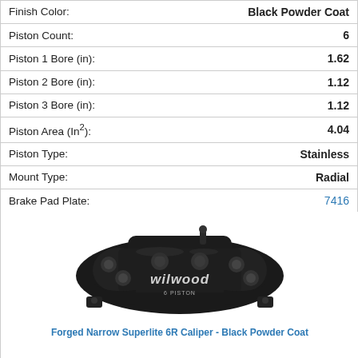| Property | Value |
| --- | --- |
| Finish Color: | Black Powder Coat |
| Piston Count: | 6 |
| Piston 1 Bore (in): | 1.62 |
| Piston 2 Bore (in): | 1.12 |
| Piston 3 Bore (in): | 1.12 |
| Piston Area (In²): | 4.04 |
| Piston Type: | Stainless |
| Mount Type: | Radial |
| Brake Pad Plate: | 7416 |
| Brake Pad Area (In²): | 8.2 |
| Brake Pad Volume (In³): | 3.8 |
| Pad Compound: | BP-10 |
[Figure (photo): Wilwood Forged Narrow Superlite 6R Caliper in Black Powder Coat finish, a 6-piston brake caliper with Wilwood branding visible.]
Forged Narrow Superlite 6R Caliper - Black Powder Coat